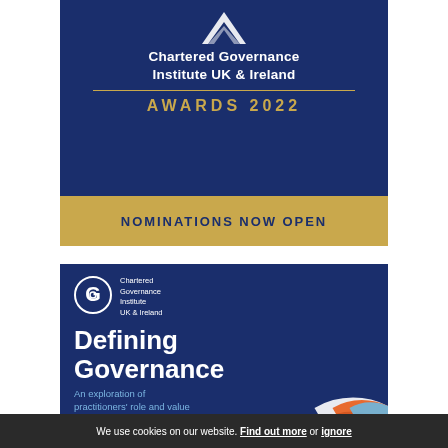[Figure (logo): Chartered Governance Institute UK & Ireland Awards 2022 banner with dark navy background, logo chevron, gold horizontal rule, and gold AWARDS 2022 text]
NOMINATIONS NOW OPEN
[Figure (logo): Chartered Governance Institute UK & Ireland document cover: Defining Governance - An exploration of practitioners' role and value, June 2022, with circular logo and decorative arcs]
We use cookies on our website. Find out more or ignore